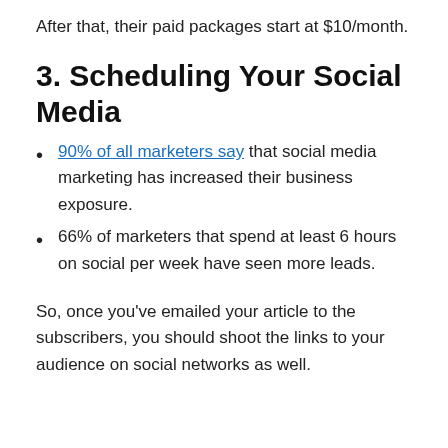After that, their paid packages start at $10/month.
3. Scheduling Your Social Media
90% of all marketers say that social media marketing has increased their business exposure.
66% of marketers that spend at least 6 hours on social per week have seen more leads.
So, once you’ve emailed your article to the subscribers, you should shoot the links to your audience on social networks as well.